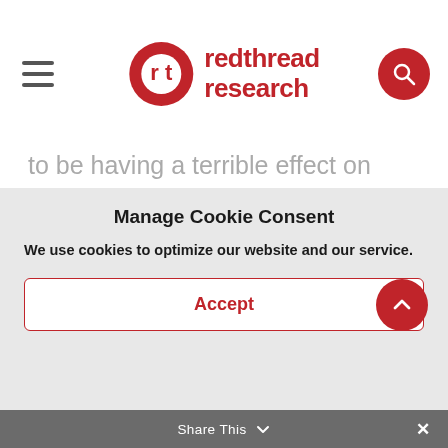Red Thread Research
to be having a terrible effect on women in particular. There was a report out from McKinsey, I think last week that said, you know, there's been an astonishing sort of knock back of progress we've made around women in the workforce. It's pretty, that's pretty sad, but any silver linings we can find
Manage Cookie Consent
We use cookies to optimize our website and our service.
Accept
Share This